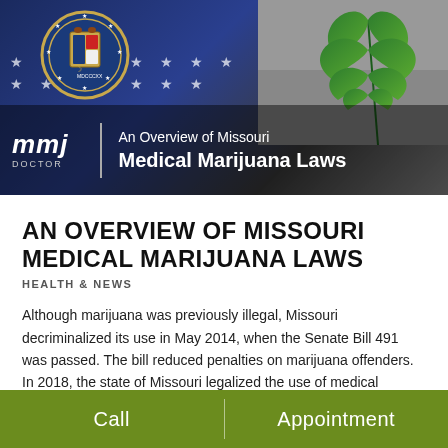[Figure (illustration): Banner image showing Missouri state seal on dark blue background with stars, cannabis leaf in upper right, MMJ Doctor logo, text 'An Overview of Missouri Medical Marijuana Laws']
AN OVERVIEW OF MISSOURI MEDICAL MARIJUANA LAWS
HEALTH & NEWS
Although marijuana was previously illegal, Missouri decriminalized its use in May 2014, when the Senate Bill 491 was passed. The bill reduced penalties on marijuana offenders. In 2018, the state of Missouri legalized the use of medical marijuana,...
Call   Appointment